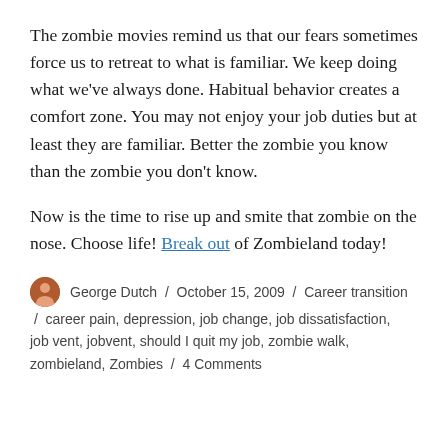The zombie movies remind us that our fears sometimes force us to retreat to what is familiar. We keep doing what we've always done. Habitual behavior creates a comfort zone. You may not enjoy your job duties but at least they are familiar. Better the zombie you know than the zombie you don't know.
Now is the time to rise up and smite that zombie on the nose. Choose life! Break out of Zombieland today!
George Dutch / October 15, 2009 / Career transition / career pain, depression, job change, job dissatisfaction, job vent, jobvent, should I quit my job, zombie walk, zombieland, Zombies / 4 Comments